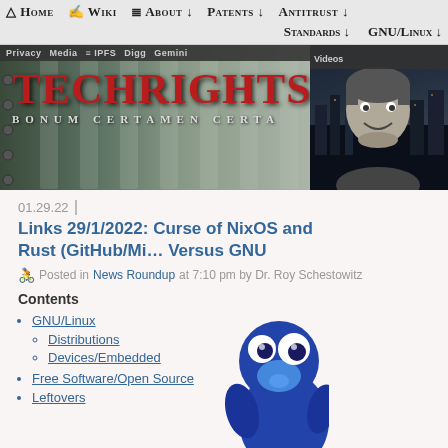Home | Wiki | About ↓ | Patents ↓ | Antitrust ↓ | Standards ↓ | GNU/Linux ↓
[Figure (screenshot): Techrights website banner with red logo text 'TECHRIGHTS' and subtitle 'BONUM CERTAMEN CERTA' over a classical column background, with a photo of a man on the right side]
01.29.22
Links 29/1/2022: Curse of NixOS and Rust (GitHub/Mi... Versus GNU
Posted in News Roundup at 7:10 pm by Dr. Roy Schestowitz
Contents
GNU/Linux
Distributions
Devices/Embedded
Free Software/Open Source
Leftovers